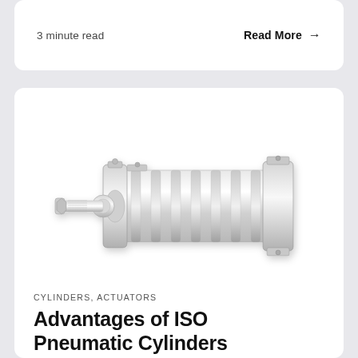3 minute read
Read More →
[Figure (photo): ISO pneumatic cylinder — a silver/aluminum horizontal cylinder actuator with piston rod extending to the left, featuring ribbed body, end caps, and mounting hardware]
CYLINDERS, ACTUATORS
Advantages of ISO Pneumatic Cylinders
ISO pneumatic cylinders all...